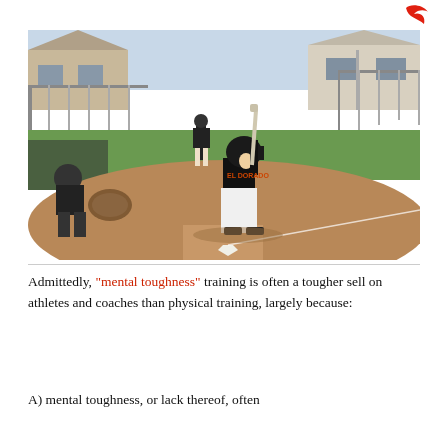[Figure (photo): Youth baseball player in batting stance at home plate, with catcher crouching behind, another player standing in background, suburban houses and green field visible in background.]
Admittedly, "mental toughness" training is often a tougher sell on athletes and coaches than physical training, largely because:
A) mental toughness, or lack thereof, often